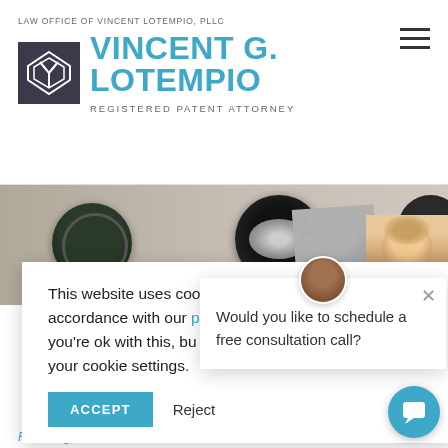LAW OFFICE OF VINCENT LOTEMPIO, PLLC | VINCENT G. LOTEMPIO | REGISTERED PATENT ATTORNEY
[Figure (photo): Photo banner showing decorative jewelry brooches on a knit background, with a woman's photo and a gray business card visible on the right side.]
This website uses cookies and collects information in accordance with our privacy policy. We'll assume you're ok with this, but you can opt out by changing your cookie settings.
ACCEPT   Reject
Would you like to schedule a free consultation call?
Giveaway and Cami!
Featuring Patent Client, Race